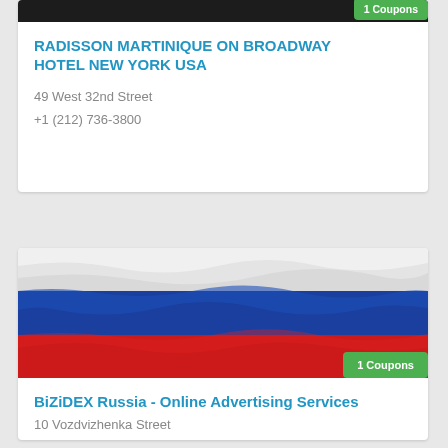[Figure (photo): Top strip of a hotel image (dark/black), partially visible at top]
1 Coupons
RADISSON MARTINIQUE ON BROADWAY HOTEL NEW YORK USA
49 West 32nd Street
+1 (212) 736-3800
[Figure (photo): Russian flag with white, blue, and red horizontal stripes]
1 Coupons
BiZiDEX Russia - Online Advertising Services
10 Vozdvizhenka Street